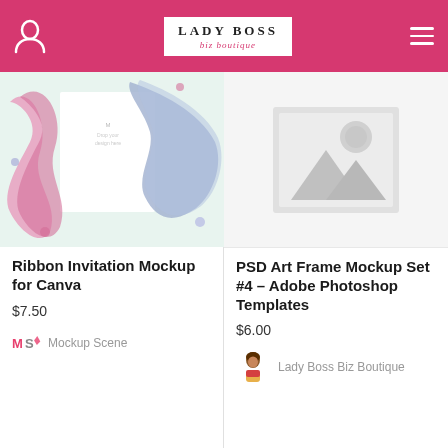Lady Boss Biz Boutique
[Figure (photo): Ribbon invitation mockup product image with colorful ribbons and card]
Ribbon Invitation Mockup for Canva
$7.50
Mockup Scene
[Figure (photo): Placeholder image icon for PSD Art Frame Mockup product]
PSD Art Frame Mockup Set #4 – Adobe Photoshop Templates
$6.00
Lady Boss Biz Boutique